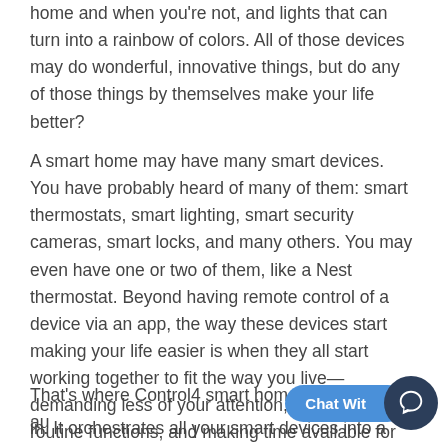home and when you're not, and lights that can turn into a rainbow of colors. All of those devices may do wonderful, innovative things, but do any of those things by themselves make your life better?
A smart home may have many smart devices. You have probably heard of many of them: smart thermostats, smart lighting, smart security cameras, smart locks, and many others. You may even have one or two of them, like a Nest thermostat. Beyond having remote control of a device via an app, the way these devices start making your life easier is when they all start working together to fit the way you live—demanding less of your attention, automating routine functions, and making time available for more important things.
That's where Control4 smart home au... in. It orchestrates all your smart devices into a cohesive,